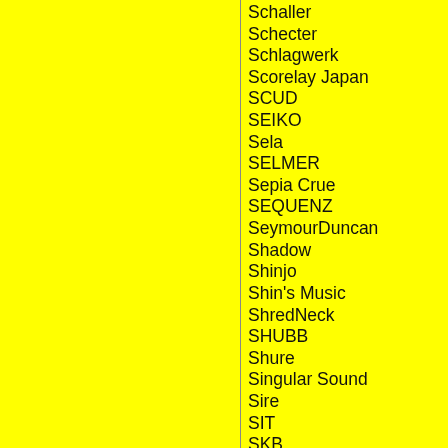Schaller
Schecter
Schlagwerk
Scorelay Japan
SCUD
SEIKO
Sela
SELMER
Sepia Crue
SEQUENZ
SeymourDuncan
Shadow
Shinjo
Shin's Music
ShredNeck
SHUBB
Shure
Singular Sound
Sire
SIT
SKB
Skull Music Records bag
SkyGel
Skysonic
SlapKlatz